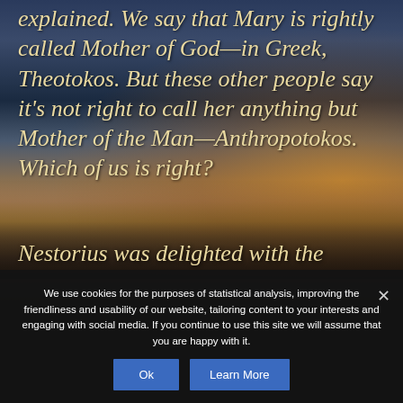[Figure (photo): Background photo of a dramatic sunset sky with dark mountains and silhouette of a person standing on a ridge, with warm orange and golden tones near the horizon and dark blue-grey clouds above.]
explained. We say that Mary is rightly called Mother of God—in Greek, Theotokos. But these other people say it's not right to call her anything but Mother of the Man—Anthropotokos. Which of us is right?
Nestorius was delighted with the
We use cookies for the purposes of statistical analysis, improving the friendliness and usability of our website, tailoring content to your interests and engaging with social media. If you continue to use this site we will assume that you are happy with it.